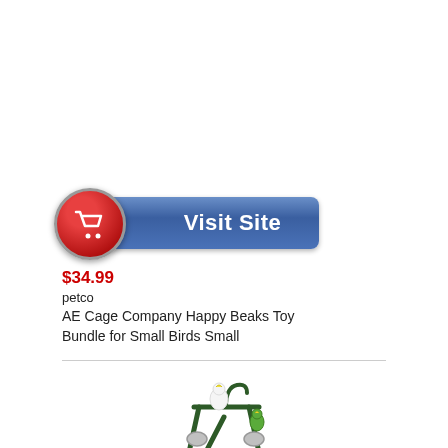[Figure (other): Blue 'Visit Site' button with red shopping cart circle on the left]
$34.99
petco
AE Cage Company Happy Beaks Toy Bundle for Small Birds Small
[Figure (photo): Photo of a bird play stand/gym with a white bird and green bird on a dark green metal frame with a blue base, partially cropped at bottom]